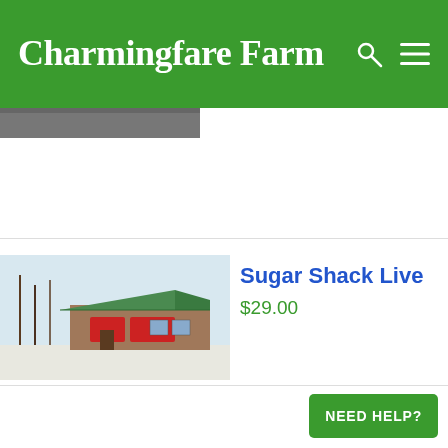Charmingfare Farm
[Figure (photo): Partial photo strip visible at top of content area below navigation header]
[Figure (photo): Photo of Sugar Shack building with green metal roof, trees in background, winter scene]
Sugar Shack Live
$29.00
NEED HELP?